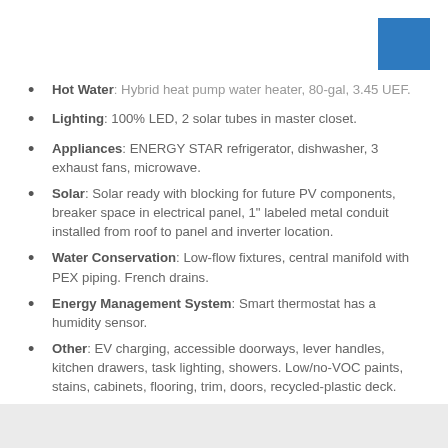Hot Water: Hybrid heat pump water heater, 80-gal, 3.45 UEF.
Lighting: 100% LED, 2 solar tubes in master closet.
Appliances: ENERGY STAR refrigerator, dishwasher, 3 exhaust fans, microwave.
Solar: Solar ready with blocking for future PV components, breaker space in electrical panel, 1" labeled metal conduit installed from roof to panel and inverter location.
Water Conservation: Low-flow fixtures, central manifold with PEX piping. French drains.
Energy Management System: Smart thermostat has a humidity sensor.
Other: EV charging, accessible doorways, lever handles, kitchen drawers, task lighting, showers. Low/no-VOC paints, stains, cabinets, flooring, trim, doors, recycled-plastic deck.